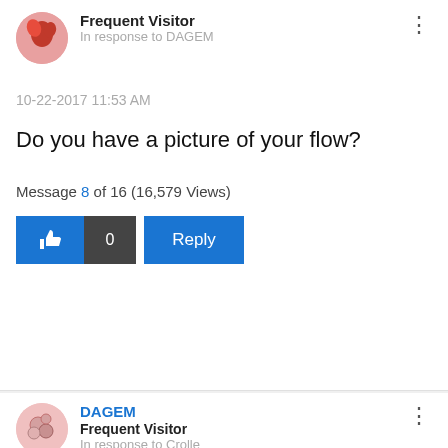Frequent Visitor
In response to DAGEM
10-22-2017 11:53 AM
Do you have a picture of your flow?
Message 8 of 16 (16,579 Views)
DAGEM
Frequent Visitor
In response to Crolle